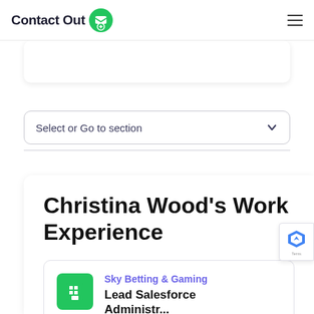ContactOut
Select or Go to section
Christina Wood's Work Experience
Sky Betting & Gaming
Lead Salesforce Administrator